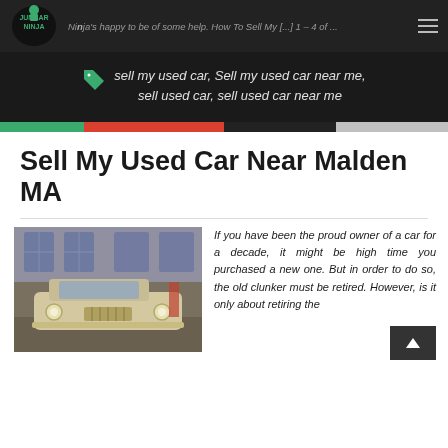Junkar Ninja - happy to be of some help. How To Sell My [...] 1 - 4 of ...
[Figure (logo): Junkar Ninja logo - ninja character with green and black branding]
sell my used car, Sell my used car near me, sell used car, sell used car near me
[Figure (infographic): Horizontal color bar divided into green, red, black, and gray segments]
Sell My Used Car Near Malden MA
[Figure (photo): Vintage car photographed from the front inside an industrial building]
If you have been the proud owner of a car for a decade, it might be high time you purchased a new one. But in order to do so, the old clunker must be retired. However, is it only about retiring the